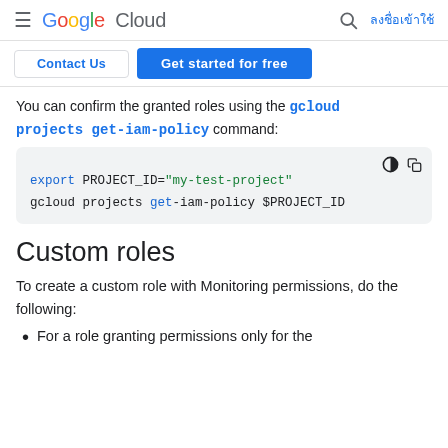Google Cloud — ลงชื่อเข้าใช้
You can confirm the granted roles using the gcloud projects get-iam-policy command:
export PROJECT_ID="my-test-project"
gcloud projects get-iam-policy $PROJECT_ID
Custom roles
To create a custom role with Monitoring permissions, do the following:
For a role granting permissions only for the